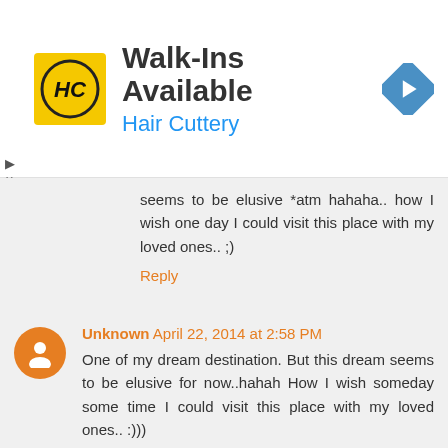[Figure (other): Hair Cuttery advertisement banner with logo (yellow square with HC initials), text 'Walk-Ins Available' and 'Hair Cuttery' in blue, and a blue diamond navigation icon on the right]
seems to be elusive *atm hahaha.. how I wish one day I could visit this place with my loved ones.. ;)
Reply
Unknown April 22, 2014 at 2:58 PM
One of my dream destination. But this dream seems to be elusive for now..hahah How I wish someday some time I could visit this place with my loved ones.. :)))
Reply
Armel May 20, 2014 at 5:42 PM
This is a very helpful post. Thank you! We're